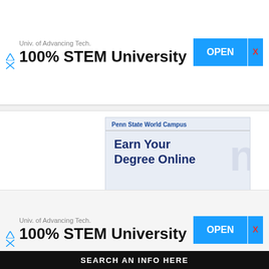[Figure (screenshot): Top advertisement banner: Univ. of Advancing Tech. 100% STEM University with blue OPEN button and red X close button]
[Figure (screenshot): Penn State World Campus advertisement: 'Earn Your Degree Online' on light blue background with dark navy 'Open >' button at bottom]
[Figure (screenshot): Bottom advertisement banner: Univ. of Advancing Tech. 100% STEM University with blue OPEN button and red X close button, with SEARCH AN INFO HERE bar at bottom]